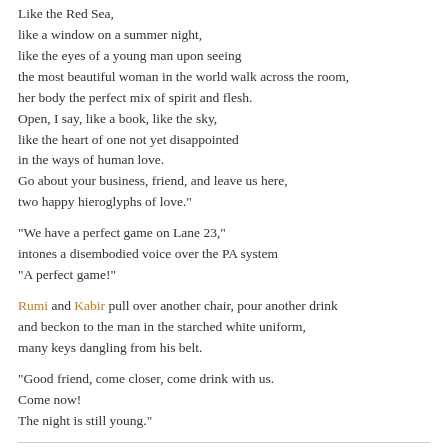Like the Red Sea,
like a window on a summer night,
like the eyes of a young man upon seeing
the most beautiful woman in the world walk across the room,
her body the perfect mix of spirit and flesh.
Open, I say, like a book, like the sky,
like the heart of one not yet disappointed
in the ways of human love.
Go about your business, friend, and leave us here,
two happy hieroglyphs of love."

"We have a perfect game on Lane 23,"
intones a disembodied voice over the PA system
"A perfect game!"

Rumi and Kabir pull over another chair, pour another drink
and beckon to the man in the starched white uniform,
many keys dangling from his belt.

"Good friend, come closer, come drink with us.
Come now!
The night is still young."
Posted by Mitch Ditkoff at 07:39 AM | Comments (0)
July 18, 2008
The Falcon and the Falconer
NOTE: This song of praise to Maharajii is best read aloud...